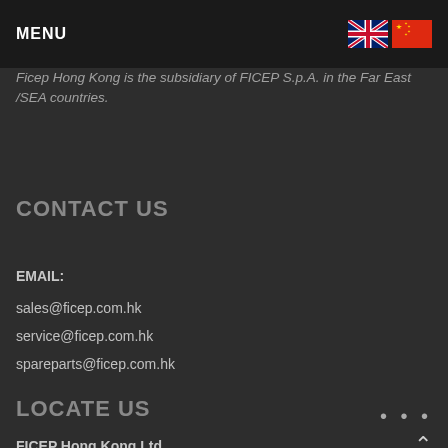MENU
Ficep Hong Kong is the subsidiary of FICEP S.p.A. in the Far East /SEA countries.
CONTACT US
EMAIL:
sales@ficep.com.hk
service@ficep.com.hk
spareparts@ficep.com.hk
LOCATE US
FICEP Hong Kong Ltd.
Unit 411, DB Plaza